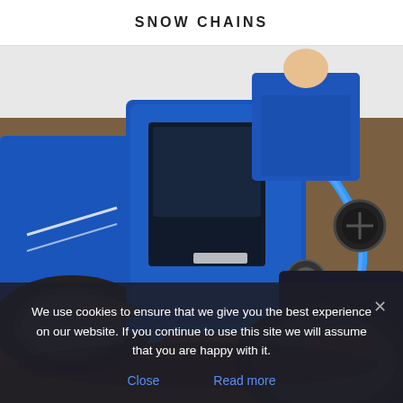SNOW CHAINS
[Figure (photo): Blue compact tractor or utility vehicle with large tires driving through dirt/mud terrain, operator visible in cab, close-up view of the front body and tire area]
We use cookies to ensure that we give you the best experience on our website. If you continue to use this site we will assume that you are happy with it.
Close   Read more